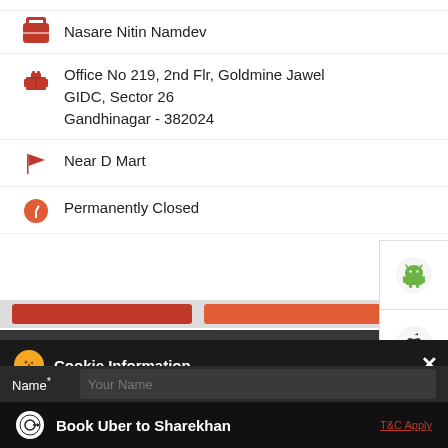Nasare Nitin Namdev
Office No 219, 2nd Flr, Goldmine Jawel
GIDC, Sector 26
Gandhinagar - 382024
Near D Mart
Permanently Closed
[Figure (screenshot): Android app download button icon (green Android robot)]
[Figure (screenshot): Apple iOS app download button icon (Apple logo)]
This location is closed. Please check out the Nearby Locations below
Cookie Information
On our website, we use services (including from third-party providers) that help us to improve our online presence (optimization of website) and to display content that is geared to their interests. We need your consent before being able to use these services.
Name*   Your Name
Book Uber to Sharekhan
T&C Apply